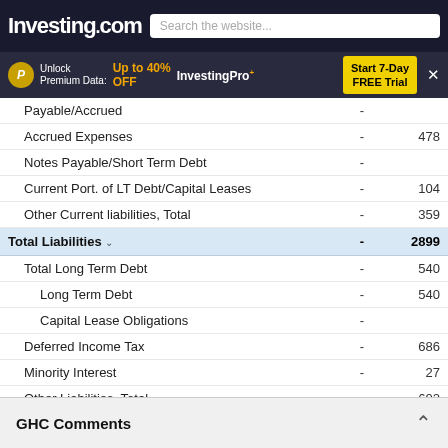Investing.com — Search the website...
[Figure (screenshot): Promotional banner: Unlock Premium Data: Up to 40% OFF InvestingPro+ Start 7-Day FREE Trial]
| Item | Col1 | Col2 |
| --- | --- | --- |
| Payable/Accrued | - |  |
| Accrued Expenses | - | 478 |
| Notes Payable/Short Term Debt | - |  |
| Current Port. of LT Debt/Capital Leases | - | 104 |
| Other Current liabilities, Total | - | 359 |
| Total Liabilities | - | 2899 |
| Total Long Term Debt | - | 540 |
| Long Term Debt | - | 540 |
| Capital Lease Obligations | - |  |
| Deferred Income Tax | - | 686 |
| Minority Interest | - | 27 |
| Other Liabilities, Total | - | 602 |
| Total Equity | - | 4460 |
| Redeemable Preferred Stock, Total | - |  |
| Preferred Stock - Non Redeemable, Net | - |  |
| Common Sto... | - |  |
| Additional Pa... | - |  |
GHC Comments